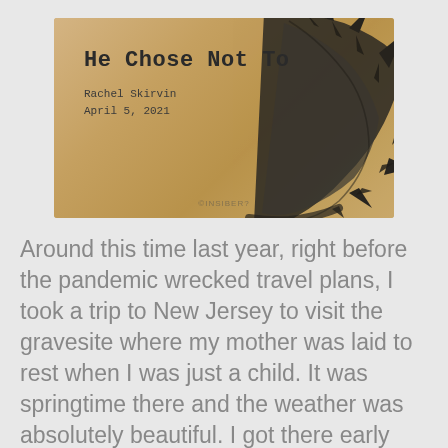[Figure (illustration): Book or blog post cover image with a parchment/tan background and a dark crown of thorns on the right side. Text on the left reads 'He Chose Not To' as the title, 'Rachel Skirvin' as the author, and 'April 5, 2021' as the date.]
Around this time last year, right before the pandemic wrecked travel plans, I took a trip to New Jersey to visit the gravesite where my mother was laid to rest when I was just a child. It was springtime there and the weather was absolutely beautiful. I got there early and spent the whole day reading, writing, reflecting, and